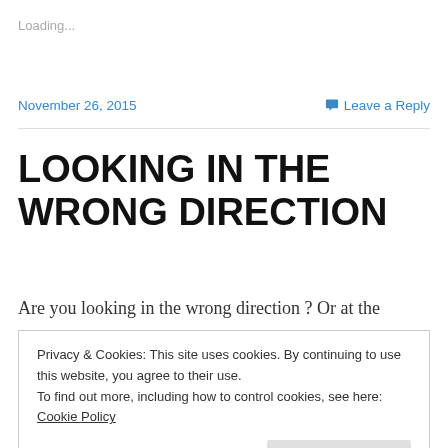Loading...
November 26, 2015
Leave a Reply
LOOKING IN THE WRONG DIRECTION
Are you looking in the wrong direction ? Or at the wrong
Privacy & Cookies: This site uses cookies. By continuing to use this website, you agree to their use.
To find out more, including how to control cookies, see here: Cookie Policy
help? My help comes from the Lord , Who made heaven